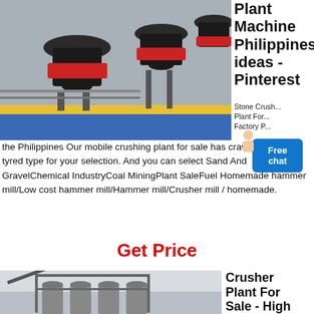[Figure (photo): Industrial stone crusher machines in a factory/outdoor setting with red and black equipment on a blue platform]
Plant Machine Philippines ideas - Pinterest
Stone Crusher Plant For Sale Factory Price
the Philippines Our mobile crushing plant for sale has crawler type and tyred type for your selection. And you can select Sand And GravelChemical IndustryCoal MiningPlant SaleFuel Homemade hammer mill/Low cost hammer mill/Hammer mill/Crusher mill / homemade.
Get Price
[Figure (photo): Large industrial crusher plant structure with silos and metal framework]
Crusher Plant For Sale - High Efficiency